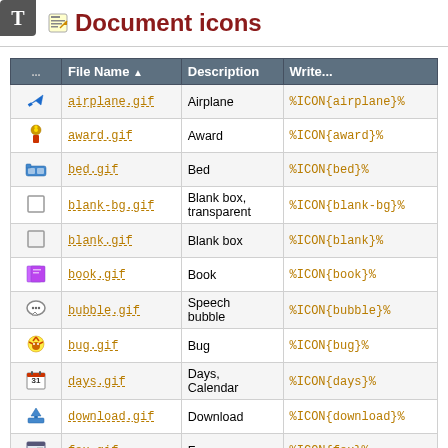T
Document icons
|  | File Name ▲ | Description | Write... |
| --- | --- | --- | --- |
| [airplane icon] | airplane.gif | Airplane | %ICON{airplane}% |
| [award icon] | award.gif | Award | %ICON{award}% |
| [bed icon] | bed.gif | Bed | %ICON{bed}% |
| [blank-bg icon] | blank-bg.gif | Blank box, transparent | %ICON{blank-bg}% |
| [blank icon] | blank.gif | Blank box | %ICON{blank}% |
| [book icon] | book.gif | Book | %ICON{book}% |
| [bubble icon] | bubble.gif | Speech bubble | %ICON{bubble}% |
| [bug icon] | bug.gif | Bug | %ICON{bug}% |
| [days icon] | days.gif | Days, Calendar | %ICON{days}% |
| [download icon] | download.gif | Download | %ICON{download}% |
| [fax icon] | fax.gif | Fax | %ICON{fax}% |